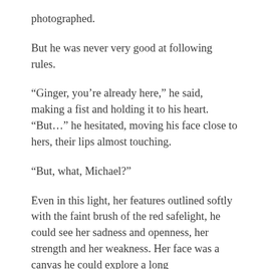photographed.
But he was never very good at following rules.
“Ginger, you’re already here,” he said, making a fist and holding it to his heart. “But…” he hesitated, moving his face close to hers, their lips almost touching.
“But, what, Michael?”
Even in this light, her features outlined softly with the faint brush of the red safelight, he could see her sadness and openness, her strength and her weakness. Her face was a canvas he could explore a long